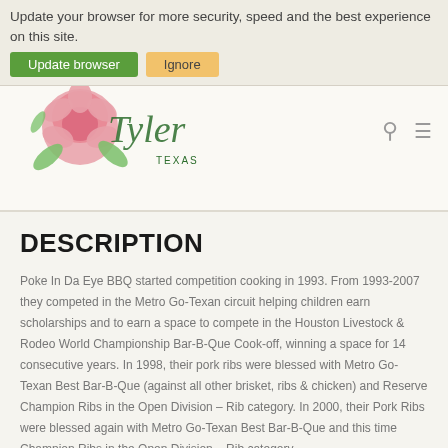Update your browser for more security, speed and the best experience on this site.
[Figure (logo): Tyler Texas rose logo with cursive text]
DESCRIPTION
Poke In Da Eye BBQ started competition cooking in 1993. From 1993-2007 they competed in the Metro Go-Texan circuit helping children earn scholarships and to earn a space to compete in the Houston Livestock & Rodeo World Championship Bar-B-Que Cook-off, winning a space for 14 consecutive years. In 1998, their pork ribs were blessed with Metro Go-Texan Best Bar-B-Que (against all other brisket, ribs & chicken) and Reserve Champion Ribs in the Open Division – Rib category. In 2000, their Pork Ribs were blessed again with Metro Go-Texan Best Bar-B-Que and this time Champion Ribs in the Open Division – Rib category